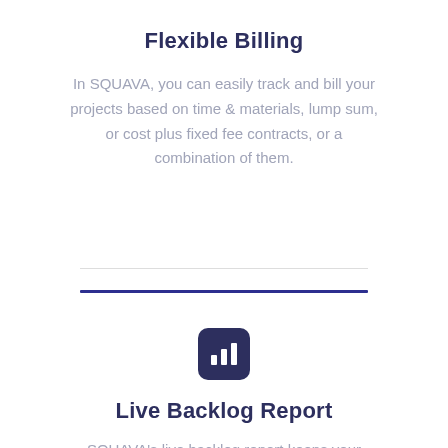Flexible Billing
In SQUAVA, you can easily track and bill your projects based on time & materials, lump sum, or cost plus fixed fee contracts, or a combination of them.
[Figure (illustration): Bar chart icon — white bars on dark navy rounded-square background]
Live Backlog Report
SQUAVA's live backlog report keeps your workload horizon actively in view